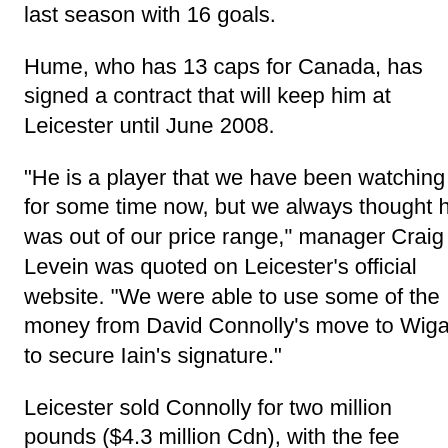last season with 16 goals.
Hume, who has 13 caps for Canada, has signed a contract that will keep him at Leicester until June 2008.
"He is a player that we have been watching for some time now, but we always thought he was out of our price range," manager Craig Levein was quoted on Leicester's official website. "We were able to use some of the money from David Connolly's move to Wigan to secure Iain's signature."
Leicester sold Connolly for two million pounds ($4.3 million Cdn), with the fee possibly rising to three million ($6.5 million Cdn).
Leicester also signed Fulham striker Elvis Hammond for a fee that could rise to 350,000 pounds ($753,700 Cdn). Hammond had been with the Foxes on loan this season.
The Foxes (1-3-2) are currently 18th in the League Championship and have been outscored 11-8. Tranmere (3-2-1) is